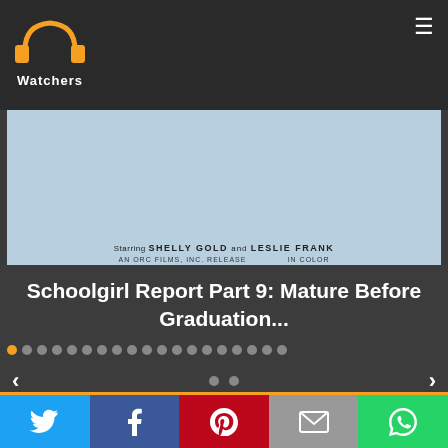PP Watchers logo and hamburger menu
[Figure (photo): Movie poster for a film, light blue background with text including 'SHELLY GOLD and LESLIE FRANK', 'AN ORC FILMS INC. RELEASE', 'IN COLOR']
Schoolgirl Report Part 9: Mature Before Graduation...
[Figure (infographic): Slideshow navigation dots: first dot orange (active), remaining dots grey, with left and right arrow navigation buttons and two extra dots in the center-bottom]
[Figure (infographic): Social sharing bar with Twitter (blue), Facebook (dark blue), Pinterest (red), Email (grey), WhatsApp (green) buttons]